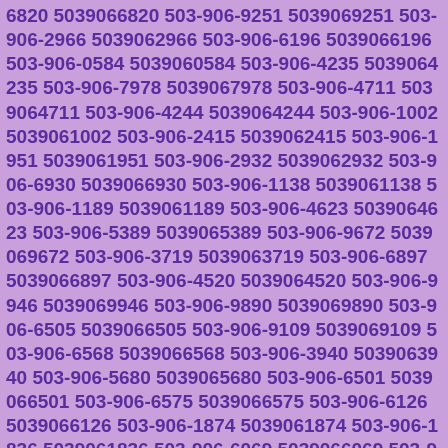6820 5039066820 503-906-9251 5039069251 503-906-2966 5039062966 503-906-6196 5039066196 503-906-0584 5039060584 503-906-4235 5039064235 503-906-7978 5039067978 503-906-4711 5039064711 503-906-4244 5039064244 503-906-1002 5039061002 503-906-2415 5039062415 503-906-1951 5039061951 503-906-2932 5039062932 503-906-6930 5039066930 503-906-1138 5039061138 503-906-1189 5039061189 503-906-4623 5039064623 503-906-5389 5039065389 503-906-9672 5039069672 503-906-3719 5039063719 503-906-6897 5039066897 503-906-4520 5039064520 503-906-9946 5039069946 503-906-9890 5039069890 503-906-6505 5039066505 503-906-9109 5039069109 503-906-6568 5039066568 503-906-3940 5039063940 503-906-5680 5039065680 503-906-6501 5039066501 503-906-6575 5039066575 503-906-6126 5039066126 503-906-1874 5039061874 503-906-1836 5039061836 503-906-6069 5039066069 503-906-0722 5039060722 503-906-4645 5039064645 503-906-4498 5039064498 503-906-8621 5039068621 503-906-3533 5039063533 503-906-8706 5039068706 503-906-1761 5039061761 503-906-